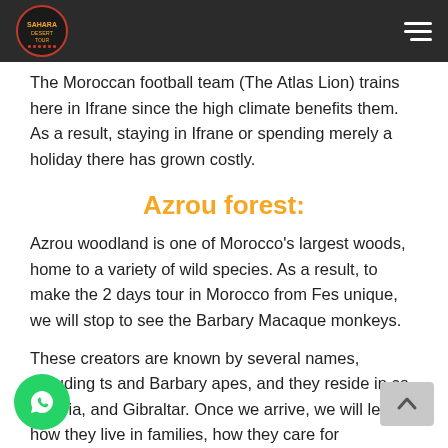[Navigation header with logo and hamburger menu]
The Moroccan football team (The Atlas Lion) trains here in Ifrane since the high climate benefits them. As a result, staying in Ifrane or spending merely a holiday there has grown costly.
Azrou forest:
Azrou woodland is one of Morocco's largest woods, home to a variety of wild species. As a result, to make the 2 days tour in Morocco from Fes unique, we will stop to see the Barbary Macaque monkeys.
These creators are known by several names, including ts and Barbary apes, and they reside in co, Algeria, and Gibraltar. Once we arrive, we will learn how they live in families, how they care for